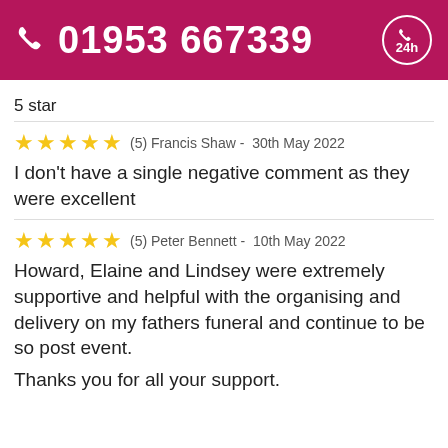01953 667339  24h
5 star
(5) Francis Shaw -  30th May 2022
I don’t have a single negative comment as they were excellent
(5) Peter Bennett -  10th May 2022
Howard, Elaine and Lindsey were extremely supportive and helpful with the organising and delivery on my fathers funeral and continue to be so post event.

Thanks you for all your support.